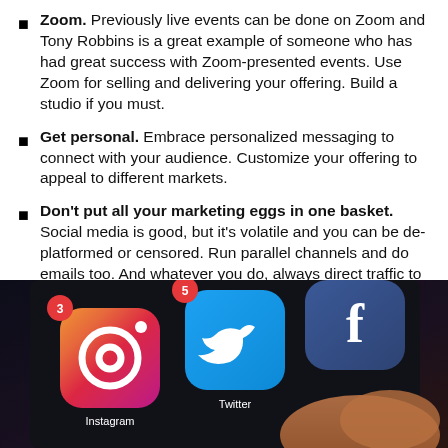Zoom. Previously live events can be done on Zoom and Tony Robbins is a great example of someone who has had great success with Zoom-presented events. Use Zoom for selling and delivering your offering. Build a studio if you must.
Get personal. Embrace personalized messaging to connect with your audience. Customize your offering to appeal to different markets.
Don't put all your marketing eggs in one basket. Social media is good, but it's volatile and you can be de-platformed or censored. Run parallel channels and do emails too. And whatever you do, always direct traffic to your website.
[Figure (photo): Close-up photo of a smartphone screen showing social media app icons: Instagram, Twitter, and Facebook]